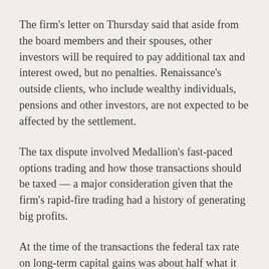The firm's letter on Thursday said that aside from the board members and their spouses, other investors will be required to pay additional tax and interest owed, but no penalties. Renaissance's outside clients, who include wealthy individuals, pensions and other investors, are not expected to be affected by the settlement.
The tax dispute involved Medallion's fast-paced options trading and how those transactions should be taxed — a major consideration given that the firm's rapid-fire trading had a history of generating big profits.
At the time of the transactions the federal tax rate on long-term capital gains was about half what it was for short-term capital gains. The hedge fund argued that many of its trades were eligible to be taxed at the